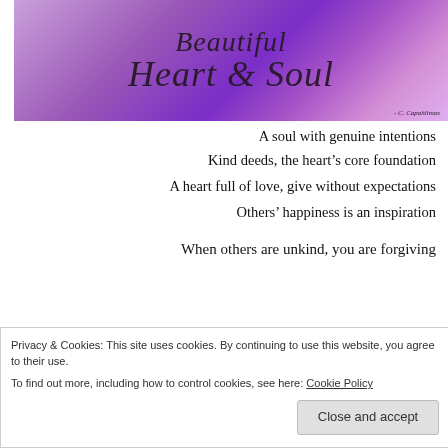[Figure (illustration): Purple swirling background banner with decorative serif italic text reading 'Beautiful Heart & Soul' and a small credit '- C. Capahlimas' in the bottom right corner.]
A soul with genuine intentions
Kind deeds, the heart's core foundation
A heart full of love, give without expectations
Others' happiness is an inspiration
When others are unkind, you are forgiving
Privacy & Cookies: This site uses cookies. By continuing to use this website, you agree to their use.
To find out more, including how to control cookies, see here: Cookie Policy
Close and accept